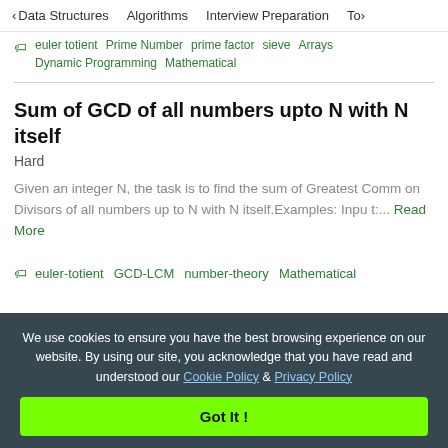< Data Structures  Algorithms  Interview Preparation  To>
euler totient  Prime Number  prime factor  sieve  Arrays  Dynamic Programming  Mathematical
Sum of GCD of all numbers upto N with N itself
Hard
Given an integer N, the task is to find the sum of Greatest Common Divisors of all numbers up to N with N itself.Examples: Input:... Read More
euler-totient  GCD-LCM  number-theory  Mathematical
We use cookies to ensure you have the best browsing experience on our website. By using our site, you acknowledge that you have read and understood our Cookie Policy & Privacy Policy
Got It !